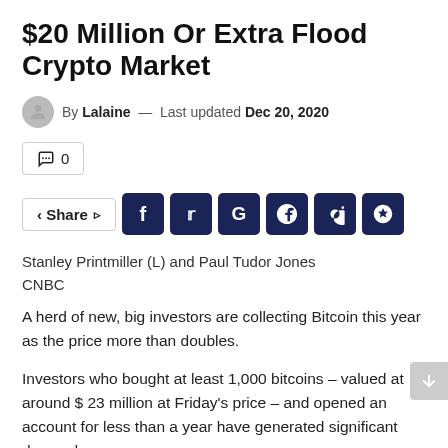$20 Million Or Extra Flood Crypto Market
By Lalaine — Last updated Dec 20, 2020
💬 0
Share  f  t  G  reddit  whatsapp  pinterest
Stanley Printmiller (L) and Paul Tudor Jones
CNBC
A herd of new, big investors are collecting Bitcoin this year as the price more than doubles.
Investors who bought at least 1,000 bitcoins – valued at around $ 23 million at Friday's price – and opened an account for less than a year have generated significant demand